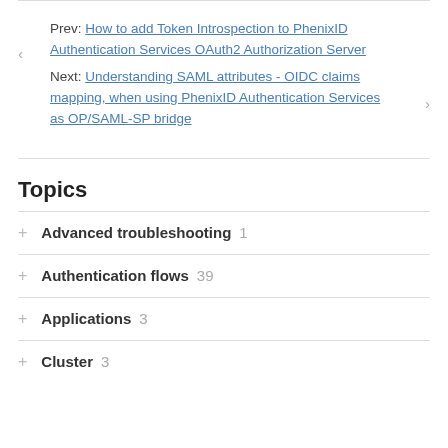Prev: How to add Token Introspection to PhenixID Authentication Services OAuth2 Authorization Server
Next: Understanding SAML attributes - OIDC claims mapping, when using PhenixID Authentication Services as OP/SAML-SP bridge
Topics
Advanced troubleshooting 1
Authentication flows 39
Applications 3
Cluster 3